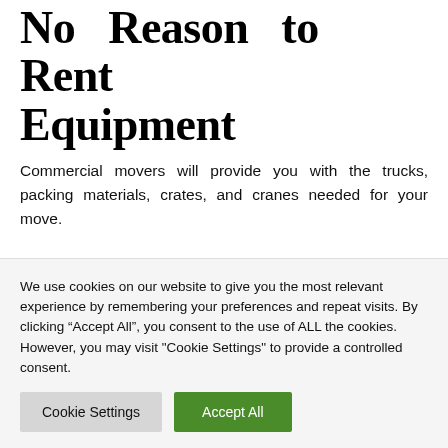No Reason to Rent Equipment
Commercial movers will provide you with the trucks, packing materials, crates, and cranes needed for your move.
Stress-Free Transition
When you choose a commercial mover for your business
We use cookies on our website to give you the most relevant experience by remembering your preferences and repeat visits. By clicking “Accept All”, you consent to the use of ALL the cookies. However, you may visit "Cookie Settings" to provide a controlled consent.